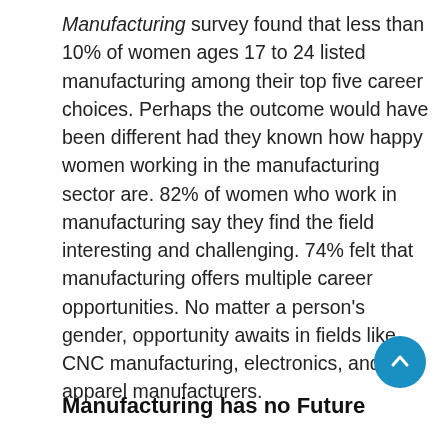Manufacturing survey found that less than 10% of women ages 17 to 24 listed manufacturing among their top five career choices. Perhaps the outcome would have been different had they known how happy women working in the manufacturing sector are. 82% of women who work in manufacturing say they find the field interesting and challenging. 74% felt that manufacturing offers multiple career opportunities. No matter a person's gender, opportunity awaits in fields like CNC manufacturing, electronics, and apparel manufacturers.
Manufacturing has no Future